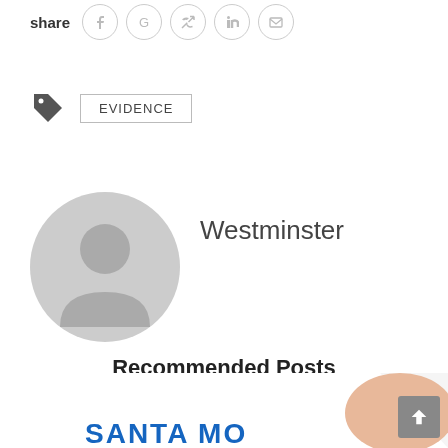share
[Figure (illustration): Tag icon followed by a bordered label reading EVIDENCE]
[Figure (illustration): Default grey user avatar circle icon with person silhouette]
Westminster
Recommended Posts
[Figure (photo): Partial photo of a hand holding a document or pen, partially visible at bottom of page, with blue text partially visible]